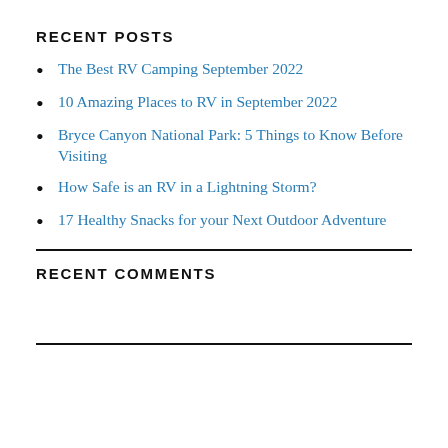RECENT POSTS
The Best RV Camping September 2022
10 Amazing Places to RV in September 2022
Bryce Canyon National Park: 5 Things to Know Before Visiting
How Safe is an RV in a Lightning Storm?
17 Healthy Snacks for your Next Outdoor Adventure
RECENT COMMENTS